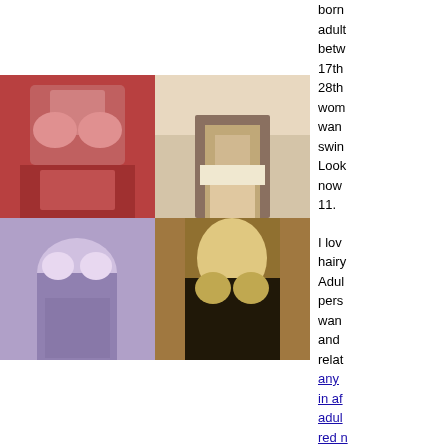[Figure (photo): Grid of four adult content images: top-left woman in red bra, top-right legs in fishnet stockings, bottom-left woman in purple bra, bottom-right blonde woman in black outfit]
born adult betw 17th 28th wom wan swin Look now 11.

I lov hairy Adul pers wan and relat any in af adul red n

Cha xxx mon look